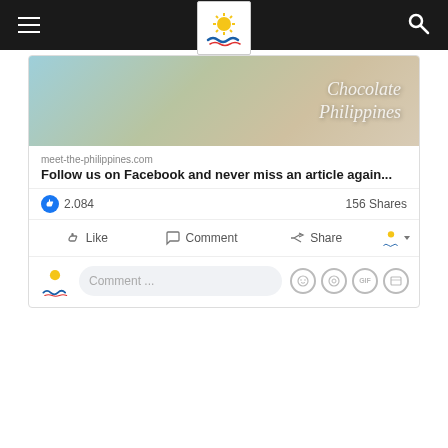Navigation bar with hamburger menu, Meet the Philippines logo, and search icon
[Figure (screenshot): Facebook post card for meet-the-philippines.com showing a beach/Philippines promotional image with italic script text reading 'Chocolate Philippines', a link title 'Follow us on Facebook and never miss an article again...', 2,084 likes, 156 shares, and Like/Comment/Share action buttons with a comment input field.]